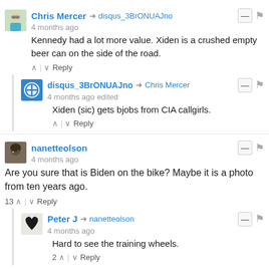Chris Mercer → disqus_3BrONUAJno
4 months ago
Kennedy had a lot more value. Xiden is a crushed empty beer can on the side of the road.
^ | ∨ Reply
disqus_3BrONUAJno → Chris Mercer
4 months ago edited
Xiden (sic) gets bjobs from CIA callgirls.
^ | ∨ Reply
nanetteolson
4 months ago
Are you sure that is Biden on the bike? Maybe it is a photo from ten years ago.
13 ^ | ∨ Reply
Peter J → nanetteolson
4 months ago
Hard to see the training wheels.
2 ^ | ∨ Reply